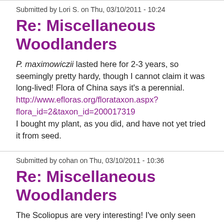Submitted by Lori S. on Thu, 03/10/2011 - 10:24
Re: Miscellaneous Woodlanders
P. maximowiczii lasted here for 2-3 years, so seemingly pretty hardy, though I cannot claim it was long-lived!  Flora of China says it's a perennial. http://www.efloras.org/florataxon.aspx?flora_id=2&taxon_id=200017319 I bought my plant, as you did, and have not yet tried it from seed.
Submitted by cohan on Thu, 03/10/2011 - 10:36
Re: Miscellaneous Woodlanders
The Scoliopus are very interesting! I've only seen them on SRGC, and somehow didn't have any